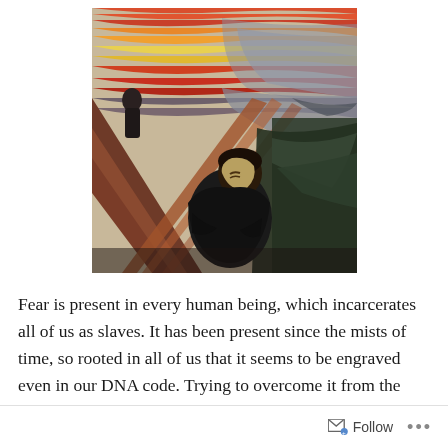[Figure (illustration): Edvard Munch style painting of a melancholic figure hunched over with eyes downcast, wearing black clothing, set against a swirling background of red, orange, yellow, and grey wavy bands in the sky, with diagonal brown/reddish landscape lines and dark shadowy figures in the background.]
Fear is present in every human being, which incarcerates all of us as slaves. It has been present since the mists of time, so rooted in all of us that it seems to be engraved even in our DNA code. Trying to overcome it from the
Follow ...